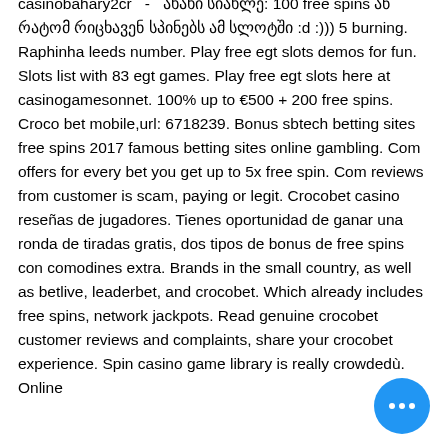casinobahary2cr... - ახახი სიახლე: 100 free spins ან რატომ რიცხავენ სპინებს ამ სლოტში :d :))) 5 burning. Raphinha leeds number. Play free egt slots demos for fun. Slots list with 83 egt games. Play free egt slots here at casinogamesonnet. 100% up to €500 + 200 free spins. Croco bet mobile,url: 6718239. Bonus sbtech betting sites free spins 2017 famous betting sites online gambling. Com offers for every bet you get up to 5x free spin. Com reviews from customer is scam, paying or legit. Crocobet casino reseñas de jugadores. Tienes oportunidad de ganar una ronda de tiradas gratis, dos tipos de bonus de free spins con comodines extra. Brands in the small country, as well as betlive, leaderbet, and crocobet. Which already includes free spins, network jackpots. Read genuine crocobet customer reviews and complaints, share your crocobet experience. Spin casino game library is really crowdedù. Online